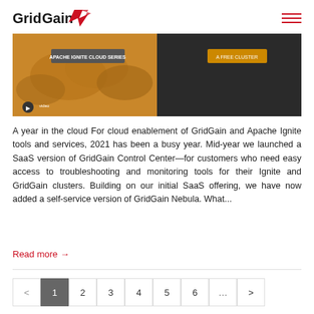GridGain
[Figure (screenshot): Website banner image showing GridGain cloud-related content with two panels: left panel is golden/orange with cloud shapes and a button labeled 'APACHE IGNITE CLOUD SERIES', right panel is dark/black with a button labeled 'A FREE CLUSTER']
A year in the cloud For cloud enablement of GridGain and Apache Ignite tools and services, 2021 has been a busy year. Mid-year we launched a SaaS version of GridGain Control Center—for customers who need easy access to troubleshooting and monitoring tools for their Ignite and GridGain clusters. Building on our initial SaaS offering, we have now added a self-service version of GridGain Nebula. What...
Read more →
< 1 2 3 4 5 6 ... >